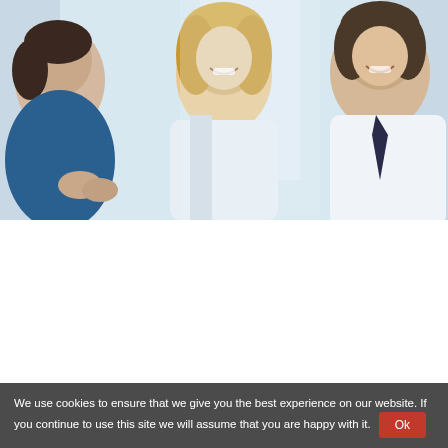Stratton Partners — Accountants > Tax Consultants > Business Advisors
[Figure (photo): Three business professionals in a meeting, two women and a man smiling and looking at documents, light blue background]
Business Support Sessions
We use cookies to ensure that we give you the best experience on our website. If you continue to use this site we will assume that you are happy with it. Ok
Who do you turn to for business support? Our business support sessions are a